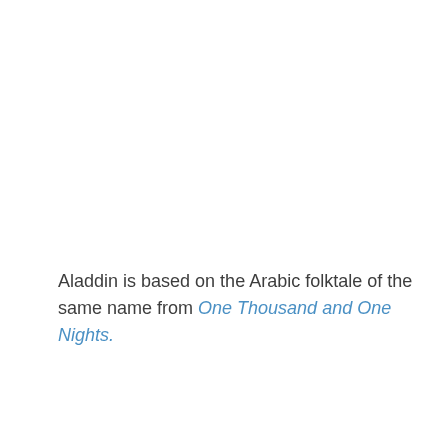Aladdin is based on the Arabic folktale of the same name from One Thousand and One Nights.